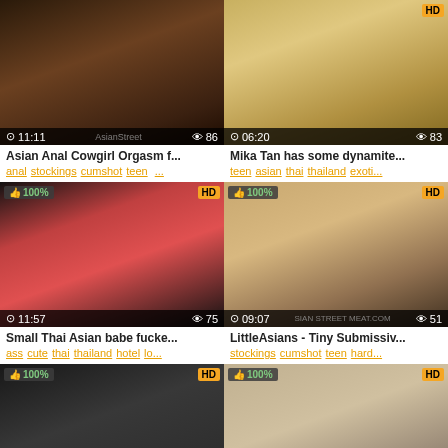[Figure (screenshot): Video thumbnail grid of adult video website showing 6 video cards in 2 columns with titles, tags, duration, and view counts]
Asian Anal Cowgirl Orgasm f...
anal stockings cumshot teen ...
Mika Tan has some dynamite...
teen asian thai thailand exoti...
Small Thai Asian babe fucke...
ass cute thai thailand hotel lo...
LittleAsians - Tiny Submissiv...
stockings cumshot teen hard...